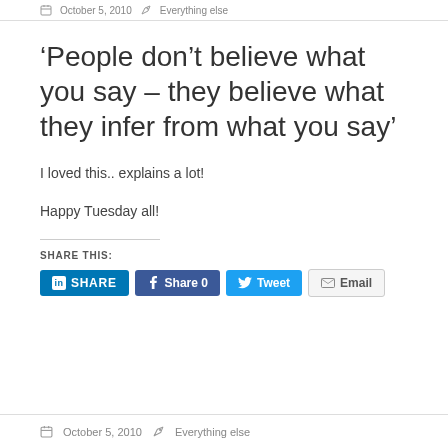October 5, 2010   Everything else
‘People don’t believe what you say – they believe what they infer from what you say’
I loved this.. explains a lot!
Happy Tuesday all!
SHARE THIS:
[Figure (infographic): Social share buttons: LinkedIn SHARE, Facebook Share 0, Twitter Tweet, Email]
October 5, 2010   Everything else